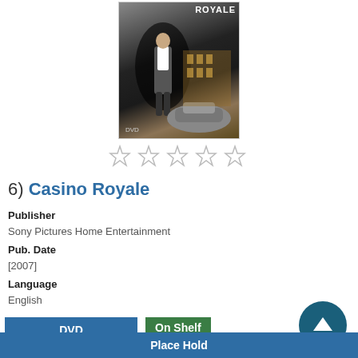[Figure (photo): DVD cover of Casino Royale showing James Bond in a suit with a luxury car and casino building in background]
[Figure (other): Five-star rating row showing 5 empty/outline stars]
6)  Casino Royale
Publisher
Sony Pictures Home Entertainment
Pub. Date
[2007]
Language
English
DVD
Show Edition
On Shelf
Gold Hill Library Branch  1 a
V F CASINO
Medford Library Branch  2 available
V F CASINO